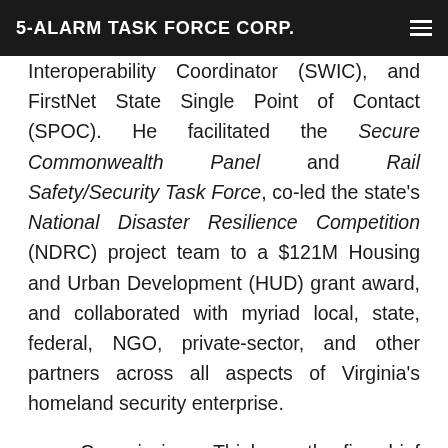5-ALARM TASK FORCE CORP.
Interoperability Coordinator (SWIC), and FirstNet State Single Point of Contact (SPOC). He facilitated the Secure Commonwealth Panel and Rail Safety/Security Task Force, co-led the state's National Disaster Resilience Competition (NDRC) project team to a $121M Housing and Urban Development (HUD) grant award, and collaborated with myriad local, state, federal, NGO, private-sector, and other partners across all aspects of Virginia's homeland security enterprise.
Commissioner Thiel was the fire chief for the City of Alexandria, Virginia from 2007-2014 and chaired the Northern Virginia Emergency Response System (NVERS) Steering Committee